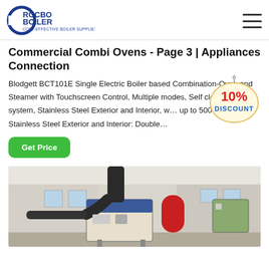ROCBO BOILER — COST-EFFECTIVE BOILER SUPPLIER
Commercial Combi Ovens - Page 3 | Appliances Connection
Blodgett BCT101E Single Electric Boiler based Combination-Oven and Steamer with Touchscreen Control, Multiple modes, Self cleaning system, Stainless Steel Exterior and Interior, w… up to 500 recipes, Stainless Steel Exterior and Interior: Double…
[Figure (other): 10% DISCOUNT badge/stamp graphic overlaid on the product description text]
Get Price
[Figure (photo): Industrial boiler equipment in a factory or plant setting — large dark flue pipe with red cylindrical tank and cream/white boiler unit, windows in background]